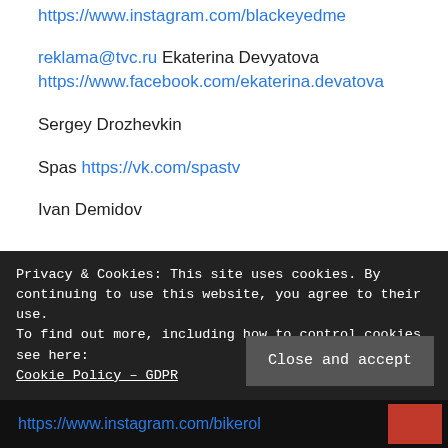https://www.instagram.com/blackeyedme
reklama@tvc.ru Ekaterina Devyatova https://www.facebook.com/ekaterina.devatova
Sergey Drozhevkin
Spas https://vk.com/spastv
Ivan Demidov
Privacy & Cookies: This site uses cookies. By continuing to use this website, you agree to their use. To find out more, including how to control cookies, see here: Cookie Policy – GDPR
Close and accept
https://www.instagram.com/bikerol